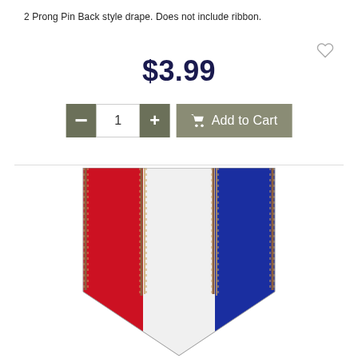2 Prong Pin Back style drape. Does not include ribbon.
$3.99
[Figure (screenshot): Add to Cart button with quantity selector showing minus button, quantity field set to 1, plus button, and an Add to Cart button with shopping cart icon]
[Figure (photo): A ribbon drape in red, white, and blue vertical stripes with brown/gold edging, shaped into a pointed pennant form]